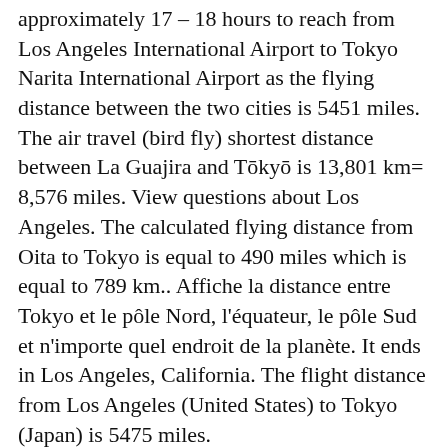approximately 17 – 18 hours to reach from Los Angeles International Airport to Tokyo Narita International Airport as the flying distance between the two cities is 5451 miles. The air travel (bird fly) shortest distance between La Guajira and Tōkyō is 13,801 km= 8,576 miles. View questions about Los Angeles. The calculated flying distance from Oita to Tokyo is equal to 490 miles which is equal to 789 km.. Affiche la distance entre Tokyo et le pôle Nord, l'équateur, le pôle Sud et n'importe quel endroit de la planète. It ends in Los Angeles, California. The flight distance from Los Angeles (United States) to Tokyo (Japan) is 5475 miles. ":"&")+"url="+encodeURIComponent(b)),f.setRequestHeader("Content-Type","application/x-www-form-urlencoded"),f.send(a))}}function B(){var b= {},c;c=document.getElementsByTagName("IMG");if(!c